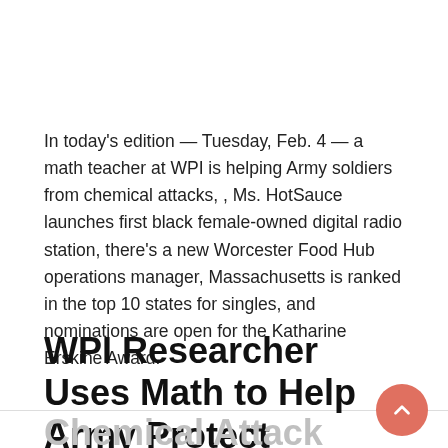In today's edition — Tuesday, Feb. 4 — a math teacher at WPI is helping Army soldiers from chemical attacks, , Ms. HotSauce launches first black female-owned digital radio station, there's a new Worcester Food Hub operations manager, Massachusetts is ranked in the top 10 states for singles, and nominations are open for the Katharine Erskine Award.
WPI Researcher Uses Math to Help Army Protect Soldiers from Chemical Attack